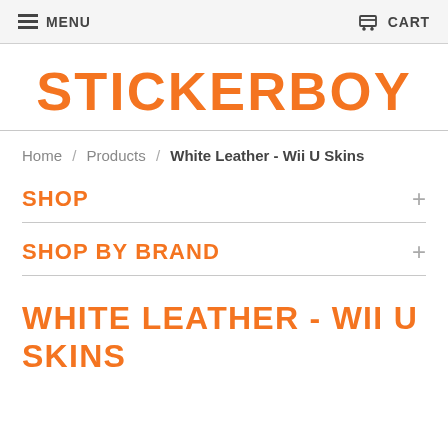MENU   CART
STICKERBOY
Home / Products / White Leather - Wii U Skins
SHOP
SHOP BY BRAND
WHITE LEATHER - WII U SKINS